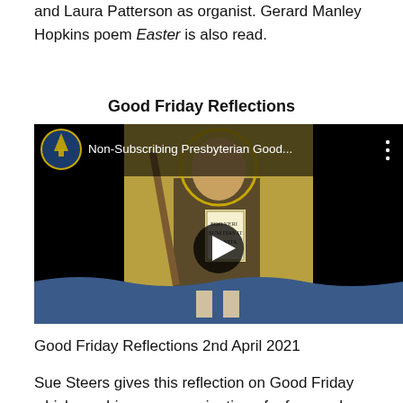and Laura Patterson as organist. Gerard Manley Hopkins poem Easter is also read.
Good Friday Reflections
[Figure (screenshot): YouTube video thumbnail showing 'Non-Subscribing Presbyterian Good...' with a Byzantine mosaic image of a figure holding a staff and a tablet inscribed EGO VERI SUM ITAS IT VIA VITA, with a circular YouTube channel logo and a play button overlay.]
Good Friday Reflections 2nd April 2021
Sue Steers gives this reflection on Good Friday which combines an examination of a famous human story from